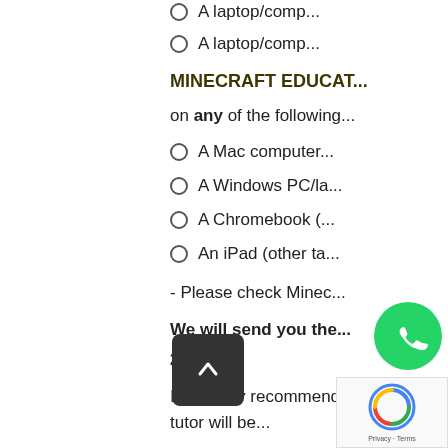A laptop/comp...
A laptop/comp...
MINECRAFT EDUCAT...
on any of the following...
A Mac computer...
A Windows PC/la...
A Chromebook (...
An iPad (other ta...
- Please check Minec...
We will send you the...
2022.
It is highly recommend... tutor will be...
Zoom as the screen is...